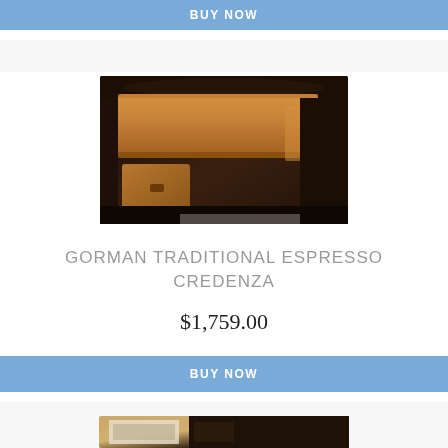BUY NOW
[Figure (photo): Close-up photo of a dark espresso wood credenza desk with an open pull-out drawer showing a tan/caramel leather or wood surface, ornate dark wood trim, and a small drawer below.]
GORMAN TRADITIONAL ESPRESSO CREDENZA
$1,759.00
BUY NOW
[Figure (photo): Partial view of another furniture item at the bottom of the page, espresso dark wood finish, partially cropped.]